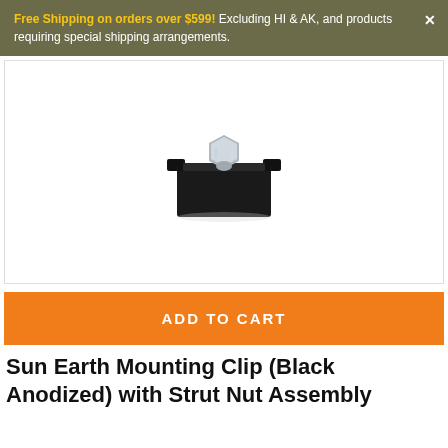Free Shipping on orders over $599! Excluding HI & AK, and products requiring special shipping arrangements.
[Figure (photo): A black anodized mounting clip with a silver strut nut assembly on top, photographed on a white background.]
ADD TO CART
Sun Earth Mounting Clip (Black Anodized) with Strut Nut Assembly